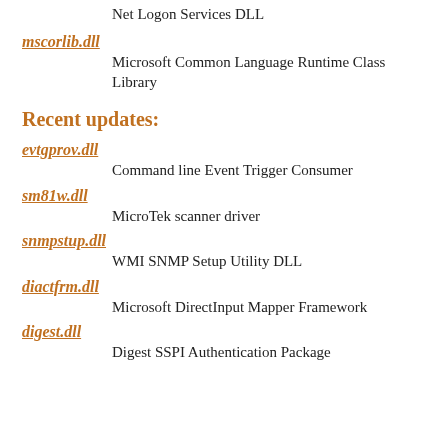Net Logon Services DLL
mscorlib.dll
Microsoft Common Language Runtime Class Library
Recent updates:
evtgprov.dll
Command line Event Trigger Consumer
sm81w.dll
MicroTek scanner driver
snmpstup.dll
WMI SNMP Setup Utility DLL
diactfrm.dll
Microsoft DirectInput Mapper Framework
digest.dll
Digest SSPI Authentication Package